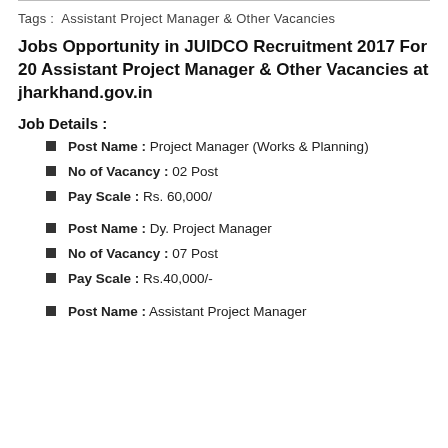Tags :  Assistant Project Manager & Other Vacancies
Jobs Opportunity in JUIDCO Recruitment 2017 For 20 Assistant Project Manager & Other Vacancies at jharkhand.gov.in
Job Details :
Post Name : Project Manager (Works & Planning)
No of Vacancy : 02 Post
Pay Scale : Rs. 60,000/
Post Name : Dy. Project Manager
No of Vacancy : 07 Post
Pay Scale : Rs.40,000/-
Post Name : Assistant Project Manager